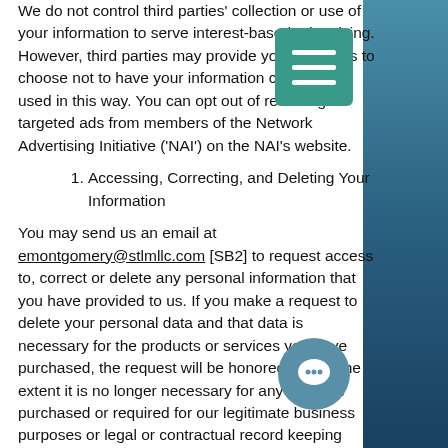We do not control third parties' collection or use of your information to serve interest-based advertising. However, third parties may provide you with ways to choose not to have your information collected or used in this way. You can opt out of receiving targeted ads from members of the Network Advertising Initiative ('NAI') on the NAI's website.
1. Accessing, Correcting, and Deleting Your Information
You may send us an email at emontgomery@stlmllc.com [SB2] to request access to, correct or delete any personal information that you have provided to us. If you make a request to delete your personal data and that data is necessary for the products or services you have purchased, the request will be honored only to the extent it is no longer necessary for any services purchased or required for our legitimate business purposes or legal or contractual record keeping requirements.
You may unsubscribe from our newsletter at any time via the link provided on the newsletter. We may not accommodate a